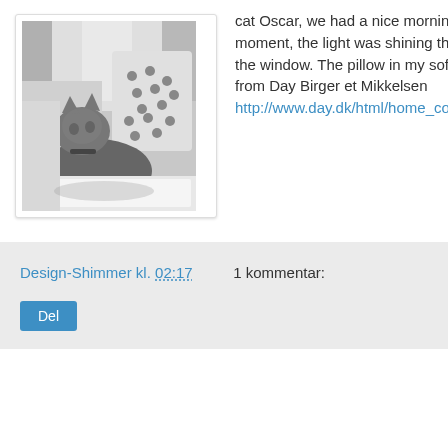[Figure (photo): Black and white photo of a cat (Oscar) lying on a fluffy white rug on a sofa, looking upward. A decorative polka-dot pillow is visible behind the cat. Light is coming through a window in the background.]
cat Oscar, we had a nice morning moment, the light was shining though the window. The pillow in my sofa is from Day Birger et Mikkelsen http://www.day.dk/html/home_collection/
Design-Shimmer kl. 02:17   1 kommentar:
Del